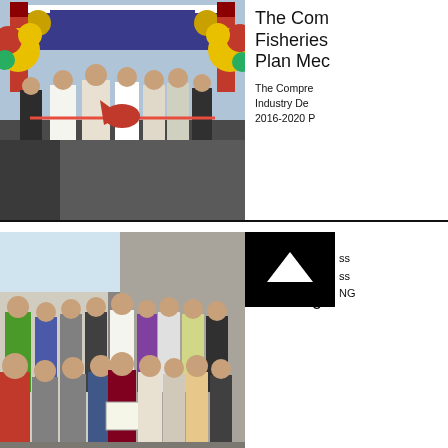[Figure (photo): Ribbon cutting ceremony at the National Fishing Expo with officials in formal attire, flanked by floral arrangements]
The Comprehensive Fisheries Industry Development Plan Media...
The Comprehensive Fisheries Industry Development Plan 2016-2020 P...
[Figure (photo): Group photo of officials and guests at an event, with one person holding a certificate or award]
Both Houses Approved on Reading...
ss ss NG